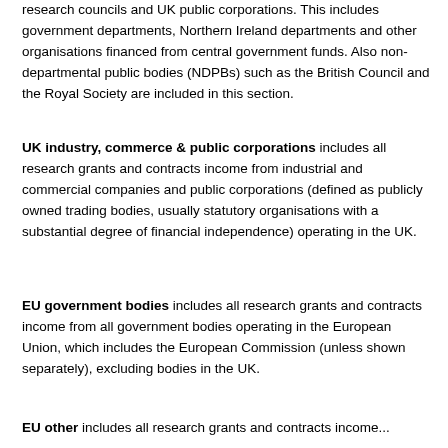research councils and UK public corporations. This includes government departments, Northern Ireland departments and other organisations financed from central government funds. Also non-departmental public bodies (NDPBs) such as the British Council and the Royal Society are included in this section.
UK industry, commerce & public corporations includes all research grants and contracts income from industrial and commercial companies and public corporations (defined as publicly owned trading bodies, usually statutory organisations with a substantial degree of financial independence) operating in the UK.
EU government bodies includes all research grants and contracts income from all government bodies operating in the European Union, which includes the European Commission (unless shown separately), excluding bodies in the UK.
EU other includes all research grants and contracts income...